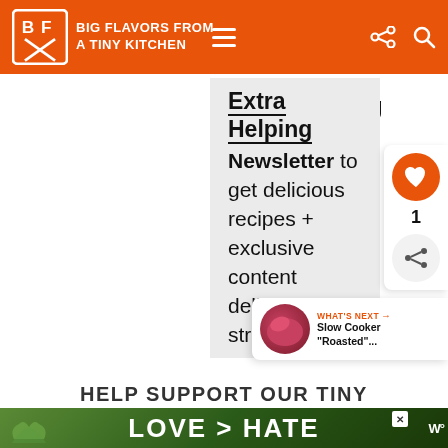Big Flavors From A Tiny Kitchen
Extra Helping
Newsletter to get delicious recipes + exclusive content delivered straight to your inbox.
Email address
Subscribe
I have read and agree to the privacy policy and want to receive email communications.
WHAT'S NEXT → Slow Cooker "Roasted"...
HELP SUPPORT OUR TINY
[Figure (screenshot): Ad banner with text LOVE > HATE on green background with hands forming heart shape]